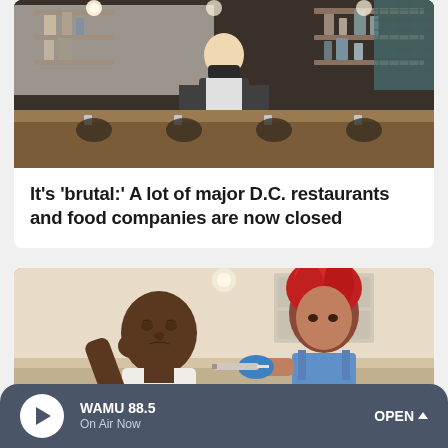[Figure (photo): A masked chef or restaurant worker standing behind a wooden bar/counter in a restaurant kitchen, with shelves of supplies in the background.]
It's 'brutal:' A lot of major D.C. restaurants and food companies are now closed
[Figure (photo): Two people in what appears to be a home or clinical setting, one person appearing distressed while the other with bright red hair appears to be administering an injection.]
WAMU 88.5 On Air Now OPEN